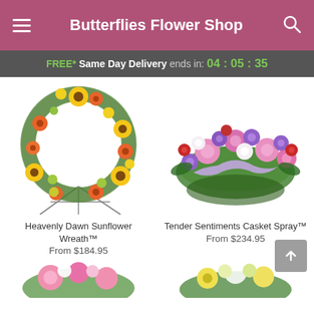Butterflies Flower Shop
FREE* Same Day Delivery ends in: 04:05:35
[Figure (photo): Heavenly Dawn Sunflower Wreath - a circular floral wreath with sunflowers, orange gerberas, yellow flowers, and green accents on a metal easel stand]
Heavenly Dawn Sunflower Wreath™
From $184.95
[Figure (photo): Tender Sentiments Casket Spray - a wide casket spray arrangement with pink, purple, and red flowers including roses, lisianthus, and peonies with a lavender ribbon]
Tender Sentiments Casket Spray™
From $234.95
[Figure (photo): Partial view of a floral arrangement with pink lilies and mixed flowers at the bottom left]
[Figure (photo): Partial view of a yellow and white floral arrangement at the bottom right]